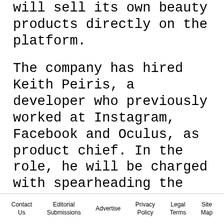will sell its own beauty products directly on the platform.
The company has hired Keith Peiris, a developer who previously worked at Instagram, Facebook and Oculus, as product chief. In the role, he will be charged with spearheading the new website. The site is in very early stages; no launch date has been set.
Unlike most makeup and skin care brands, Glossier's business is overwhelmingly done online; it has more than 1.4 million followers on Instagram. Though the company does not disclose revenue, Bloomberg noted that it has stated it tripled in size
Contact Us   Editorial Submissions   Advertise   Privacy Policy   Legal Terms   Site Map